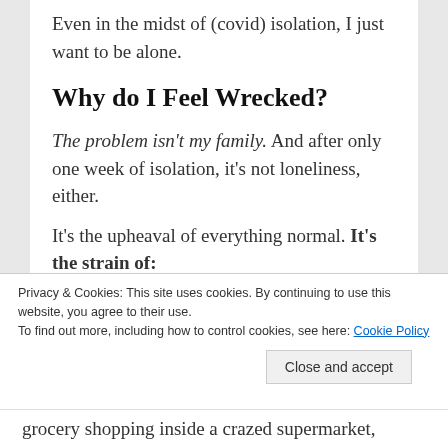Even in the midst of (covid) isolation, I just want to be alone.
Why do I Feel Wrecked?
The problem isn't my family. And after only one week of isolation, it's not loneliness, either.
It's the upheaval of everything normal. It's the strain of:
calming the children's fears and disappointments.
Privacy & Cookies: This site uses cookies. By continuing to use this website, you agree to their use.
To find out more, including how to control cookies, see here: Cookie Policy
grocery shopping inside a crazed supermarket,